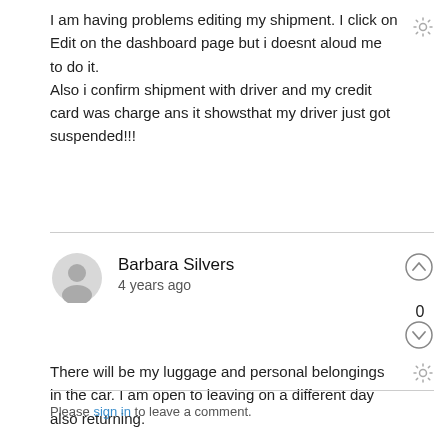I am having problems editing my shipment. I click on Edit on the dashboard page but i doesnt aloud me to do it.
Also i confirm shipment with driver and my credit card was charge ans it showsthat my driver just got suspended!!!
Barbara Silvers
4 years ago
There will be my luggage and personal belongings in the car. I am open to leaving on a different day also returning.
Please sign in to leave a comment.